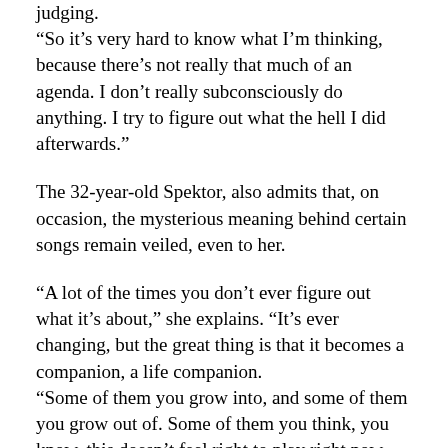judging. “So it’s very hard to know what I’m thinking, because there’s not really that much of an agenda. I don’t really subconsciously do anything. I try to figure out what the hell I did afterwards.”
The 32-year-old Spektor, also admits that, on occasion, the mysterious meaning behind certain songs remain veiled, even to her.
“A lot of the times you don’t ever figure out what it’s about,” she explains. “It’s ever changing, but the great thing is that it becomes a companion, a life companion. “Some of them you grow into, and some of them you grow out of. Some of them you think, you know, this doesn’t feel right to play right now. And then six years later, it feels really right to play … they’re kind of in their own time and space.”